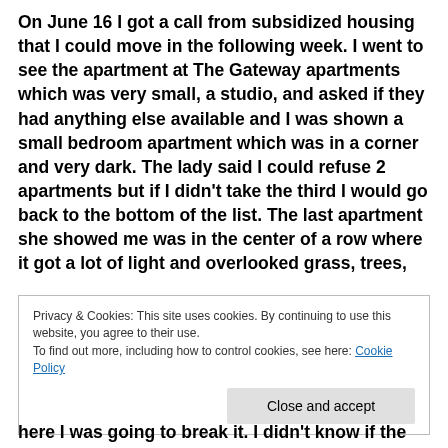On June 16 I got a call from subsidized housing that I could move in the following week. I went to see the apartment at The Gateway apartments which was very small, a studio, and asked if they had anything else available and I was shown a small bedroom apartment which was in a corner and very dark. The lady said I could refuse 2 apartments but if I didn't take the third I would go back to the bottom of the list. The last apartment she showed me was in the center of a row where it got a lot of light and overlooked grass, trees,
Privacy & Cookies: This site uses cookies. By continuing to use this website, you agree to their use.
To find out more, including how to control cookies, see here: Cookie Policy
here I was going to break it. I didn't know if the